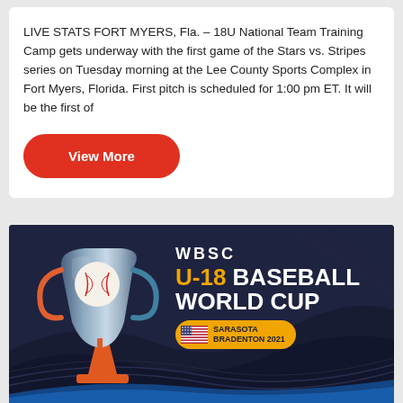LIVE STATS FORT MYERS, Fla. – 18U National Team Training Camp gets underway with the first game of the Stars vs. Stripes series on Tuesday morning at the Lee County Sports Complex in Fort Myers, Florida. First pitch is scheduled for 1:00 pm ET. It will be the first of
View More
[Figure (illustration): WBSC U-18 Baseball World Cup promotional banner with trophy logo, showing Sarasota Bradenton 2021 location badge on a dark navy background with curved wave design.]